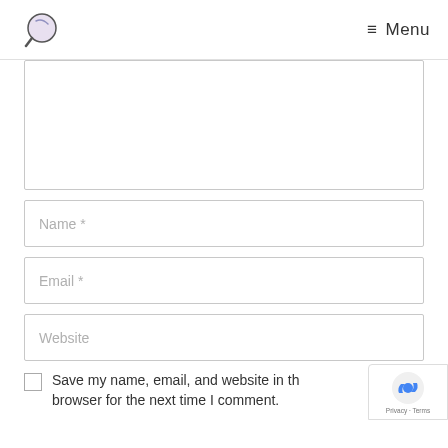Menu
[Figure (other): Comment form textarea (partially visible), Name input field, Email input field, Website input field, and a save checkbox with reCAPTCHA badge]
Name *
Email *
Website
Save my name, email, and website in this browser for the next time I comment.